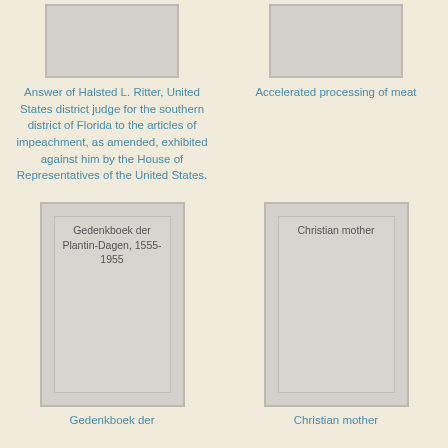[Figure (illustration): Book cover thumbnail - top left, gray rectangle]
[Figure (illustration): Book cover thumbnail - top right, gray rectangle]
Answer of Halsted L. Ritter, United States district judge for the southern district of Florida to the articles of impeachment, as amended, exhibited against him by the House of Representatives of the United States.
Accelerated processing of meat
[Figure (illustration): Book cover card - bottom left, Gedenkboek der Plantin-Dagen, 1555-1955]
[Figure (illustration): Book cover card - bottom right, Christian mother]
Gedenkboek der
Christian mother